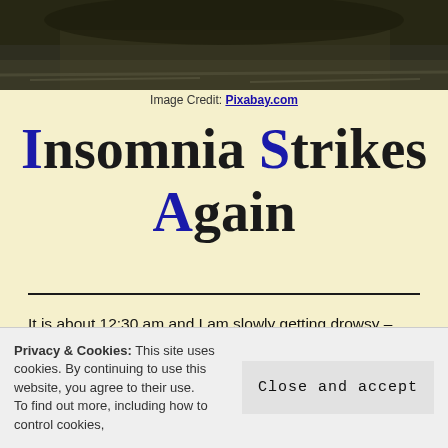[Figure (photo): Dark outdoor photograph showing ground with grass/straw, dark background, partial view of a dark object]
Image Credit: Pixabay.com
Insomnia Strikes Again
It is about 12:30 am and I am slowly getting drowsy – most likely thanks to the 300mg of Trazodone that I take at night – but my mind is running a thousand miles a minute. I figured I
Privacy & Cookies: This site uses cookies. By continuing to use this website, you agree to their use.
To find out more, including how to control cookies,